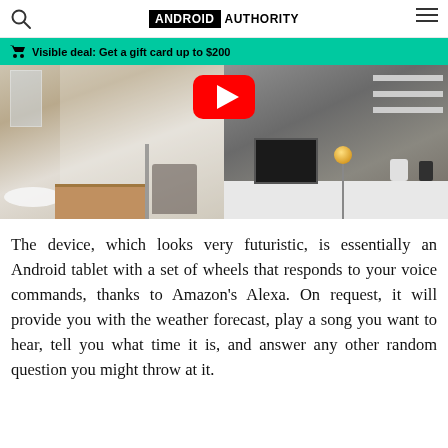ANDROID AUTHORITY
Visible deal: Get a gift card up to $200
[Figure (screenshot): Video thumbnail showing two room scenes side by side — a modern bathroom on the left and a contemporary living room on the right — with a YouTube play button overlay at the top center.]
The device, which looks very futuristic, is essentially an Android tablet with a set of wheels that responds to your voice commands, thanks to Amazon's Alexa. On request, it will provide you with the weather forecast, play a song you want to hear, tell you what time it is, and answer any other random question you might throw at it.